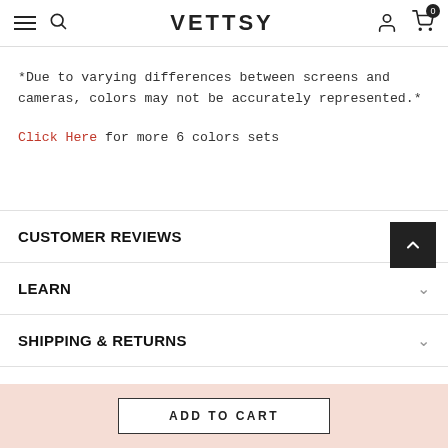VETTSY
*Due to varying differences between screens and cameras, colors may not be accurately represented.*
Click Here for more 6 colors sets
CUSTOMER REVIEWS
LEARN
SHIPPING & RETURNS
ADD TO CART